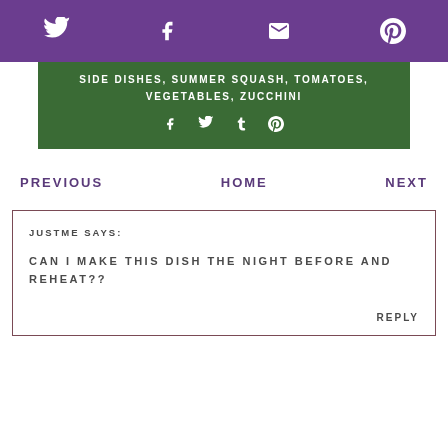Twitter, Facebook, Email, Pinterest icons
SIDE DISHES, SUMMER SQUASH, TOMATOES, VEGETABLES, ZUCCHINI
Facebook, Twitter, Tumblr, Pinterest share icons
PREVIOUS   HOME   NEXT
JUSTME SAYS:
CAN I MAKE THIS DISH THE NIGHT BEFORE AND REHEAT??
REPLY